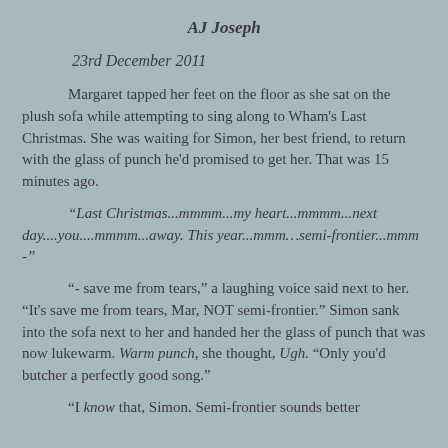AJ Joseph
23rd December 2011
Margaret tapped her feet on the floor as she sat on the plush sofa while attempting to sing along to Wham's Last Christmas. She was waiting for Simon, her best friend, to return with the glass of punch he'd promised to get her. That was 15 minutes ago.
“Last Christmas...mmmm...my heart...mmmm...next day....you....mmmm...away. This year...mmm…semi-frontier...mmm -”
“- save me from tears,” a laughing voice said next to her. “It's save me from tears, Mar, NOT semi-frontier.” Simon sank into the sofa next to her and handed her the glass of punch that was now lukewarm. Warm punch, she thought, Ugh. “Only you'd butcher a perfectly good song.”
“I know that, Simon. Semi-frontier sounds better